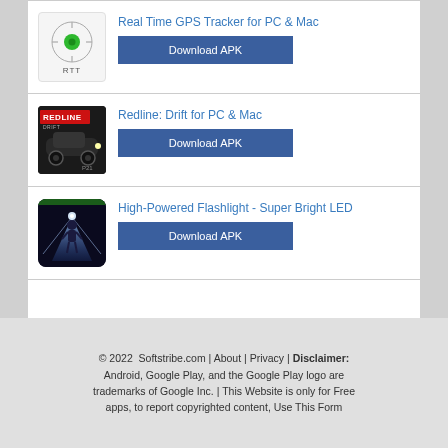Real Time GPS Tracker for PC & Mac — Download APK
Redline: Drift for PC & Mac — Download APK
High-Powered Flashlight - Super Bright LED — Download APK
© 2022  Softstribe.com | About | Privacy | Disclaimer: Android, Google Play, and the Google Play logo are trademarks of Google Inc. | This Website is only for Free apps, to report copyrighted content, Use This Form